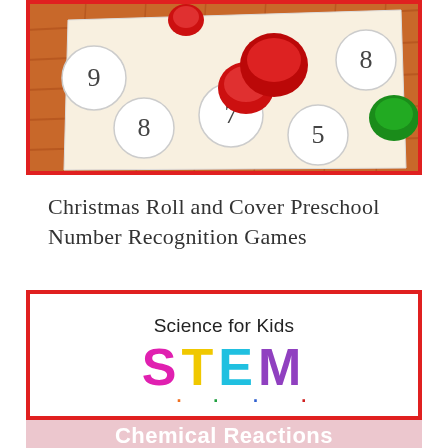[Figure (photo): Christmas Roll and Cover preschool number recognition game mat with numbered ornament circles (showing numbers 5, 7, 8, 8, 9) and red and green plastic counting pieces/tokens placed on the mat. The mat has a wooden floor background with Christmas decorations.]
Christmas Roll and Cover Preschool Number Recognition Games
[Figure (illustration): Educational graphic with 'Science for Kids' text at top and large colorful STEM letters (S. T. E. M.) below in pink, yellow, cyan, and purple with colored dots between letters. Below is a pink banner with 'Chemical Reactions' in white bold text.]